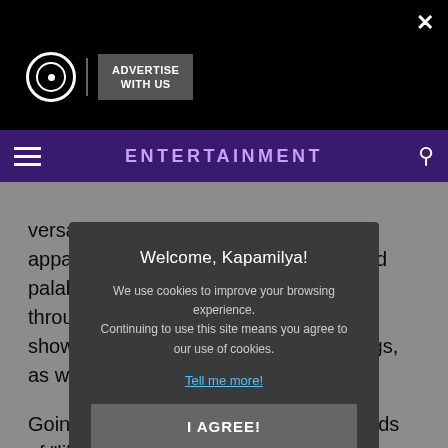ENTERTAINMENT
versatile young actress Sue Ramirez is apparently as easygoing, fun-loving, and palaban in real life. And we get to see it through her bonding moments with her showbiz friends through shows and vlogs, as well as in the pictures that she sh...
Going thro... her every upload new... ands of "likes".
Among he... s, wherein she's seen... s, that apparently... es and compliments from her throngs of followers.
However, more than flaunting her toned and always summer-ready bod, here are some of the scorching...
[Figure (screenshot): Cookie consent dialog overlay with title 'Welcome, Kapamilya!', body text about cookies, 'Tell me more!' link, and 'I AGREE!' button on dark background]